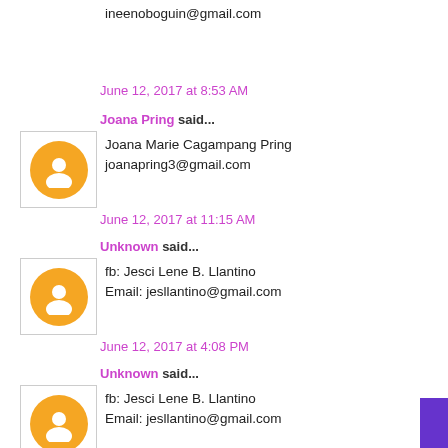ineenoboguin@gmail.com
June 12, 2017 at 8:53 AM
Joana Pring said...
Joana Marie Cagampang Pring
joanapring3@gmail.com
June 12, 2017 at 11:15 AM
Unknown said...
fb: Jesci Lene B. Llantino
Email: jesllantino@gmail.com
June 12, 2017 at 4:08 PM
Unknown said...
fb: Jesci Lene B. Llantino
Email: jesllantino@gmail.com
June 12, 2017 at 4:09 PM
Unknown said...
FB: Angelica Portuguese